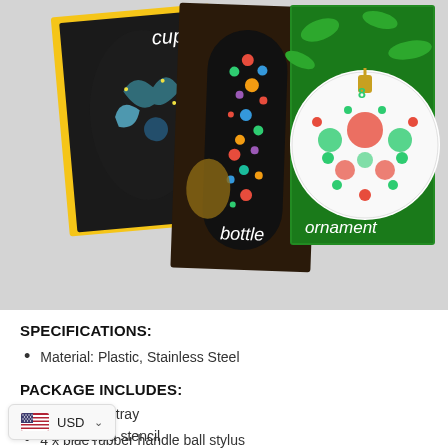[Figure (photo): Photo collage of three decorated craft items: a black cup with floral mandala painting labeled 'cup', a colorful dotted bottle labeled 'bottle', and a white Christmas ornament with circular dot patterns labeled 'ornament'. Background includes pine cones and green foliage.]
SPECIFICATIONS:
Material: Plastic, Stainless Steel
PACKAGE INCLUDES:
1 x painting tray
4 x blue rubber handle ball stylus
5 x double-ended acrylic dotting pen
...ng brush
4 x mandala stencil